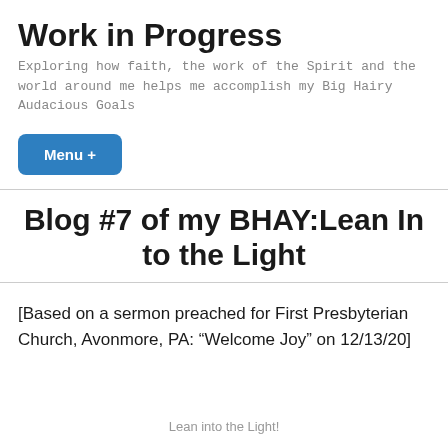Work in Progress
Exploring how faith, the work of the Spirit and the world around me helps me accomplish my Big Hairy Audacious Goals
Menu +
Blog #7 of my BHAY:Lean In to the Light
[Based on a sermon preached for First Presbyterian Church, Avonmore, PA: “Welcome Joy” on 12/13/20]
Lean into the Light!